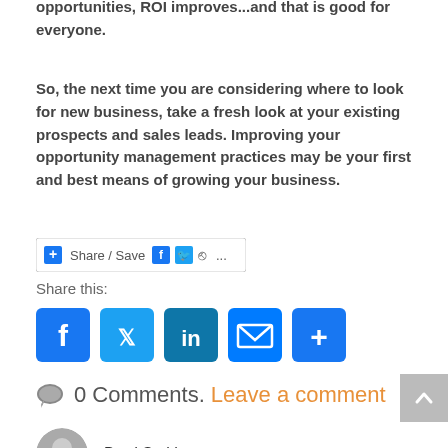opportunities, ROI improves...and that is good for everyone.
So, the next time you are considering where to look for new business, take a fresh look at your existing prospects and sales leads. Improving your opportunity management practices may be your first and best means of growing your business.
[Figure (screenshot): Share/Save button bar with social media icons including Facebook, Twitter, and share]
Share this:
[Figure (infographic): Social share buttons: Facebook (blue), Twitter (blue), LinkedIn (teal), Email (blue), More (blue)]
0 Comments. Leave a comment
Brad Smith